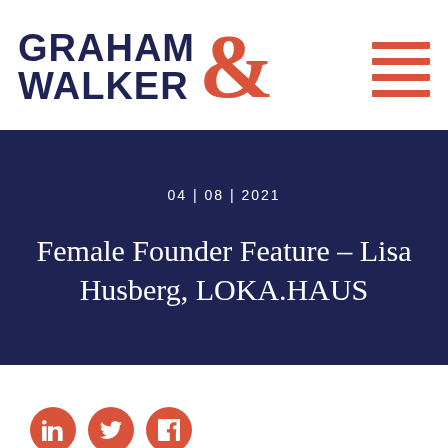[Figure (logo): Graham & Walker logo with dark navy bold text 'GRAHAM' and 'WALKER' on the left and a large coral/red ampersand symbol]
[Figure (other): Hamburger menu icon consisting of four coral/red horizontal bars stacked vertically]
04 | 08 | 2021
Female Founder Feature – Lisa Husberg, LOKA.HAUS
[Figure (other): Three social media icons (LinkedIn, Twitter, Facebook) in coral/red circles]